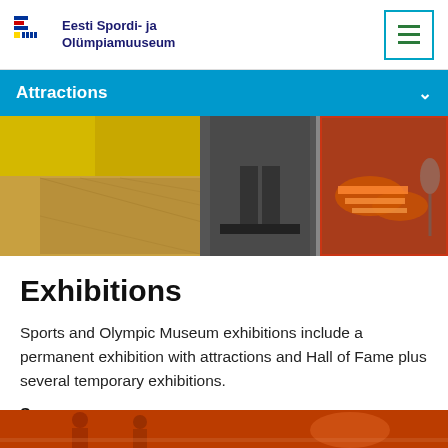Eesti Spordi- ja Olümpiamuuseum
Attractions
[Figure (photo): Interior of sports museum showing yellow walls, parquet flooring, treadmill area and display case with athletic shoes]
Exhibitions
Sports and Olympic Museum exhibitions include a permanent exhibition with attractions and Hall of Fame plus several temporary exhibitions.
See more >
[Figure (photo): Bottom portion of sports museum interior photo]